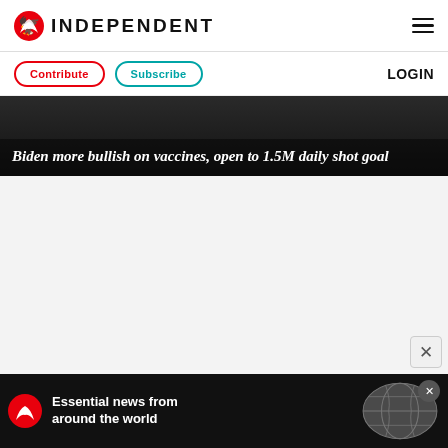INDEPENDENT
[Figure (logo): The Independent logo with red eagle icon and INDEPENDENT text in bold uppercase]
Contribute | Subscribe | LOGIN
Biden more bullish on vaccines, open to 1.5M daily shot goal
[Figure (photo): Dark/night background image behind headline - article hero image]
[Figure (photo): Light grey content area placeholder]
[Figure (other): Advertisement banner: The Independent eagle logo with text 'Essential news from around the world' and globe graphic on black background]